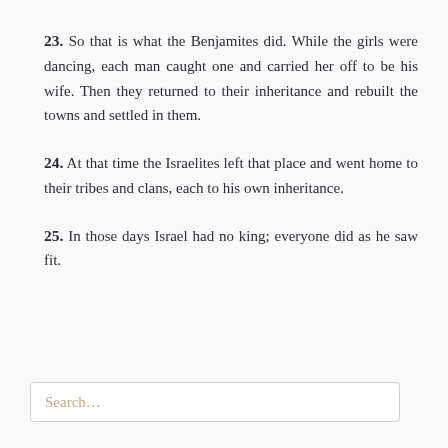23. So that is what the Benjamites did. While the girls were dancing, each man caught one and carried her off to be his wife. Then they returned to their inheritance and rebuilt the towns and settled in them.
24. At that time the Israelites left that place and went home to their tribes and clans, each to his own inheritance.
25. In those days Israel had no king; everyone did as he saw fit.
Search...